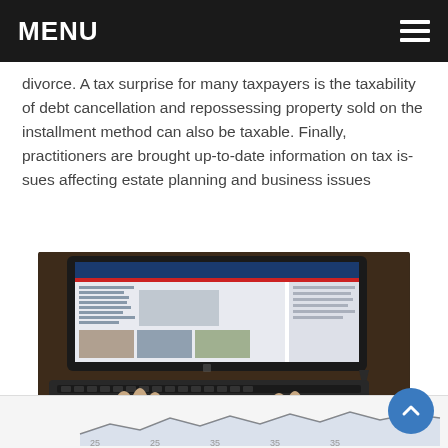MENU
divorce. A tax surprise for many taxpayers is the taxability of debt cancellation and repossessing property sold on the installment method can also be taxable. Finally, practitioners are brought up-to-date information on tax is-sues affecting estate planning and business issues
[Figure (photo): Person using a tablet computer with keyboard cover on a wooden desk, browsing a website with blue header and thumbnail images]
[Figure (continuous-plot): Partial view of a line/area chart at the bottom of the page, x-axis labels partially visible showing values around 25-35]